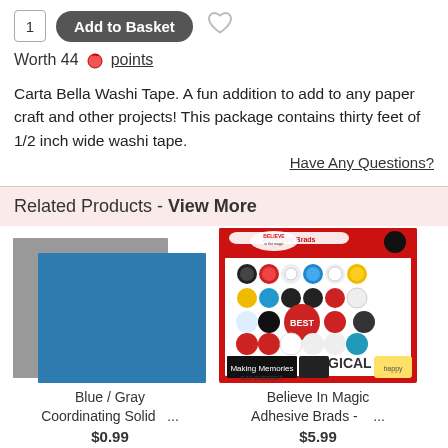1  Add to Basket  ♡
Worth 44 🔴 points
Carta Bella Washi Tape. A fun addition to add to any paper craft and other projects! This package contains thirty feet of 1/2 inch wide washi tape.
Have Any Questions?
Related Products - View More
[Figure (photo): Blue and gray coordinating solid cardstock sheets stacked slightly offset]
Blue / Gray Coordinating Solid ...
$0.99
[Figure (photo): Believe In Magic Adhesive Brads product package with colorful circular brads on red background]
Believe In Magic Adhesive Brads - ...
$5.99